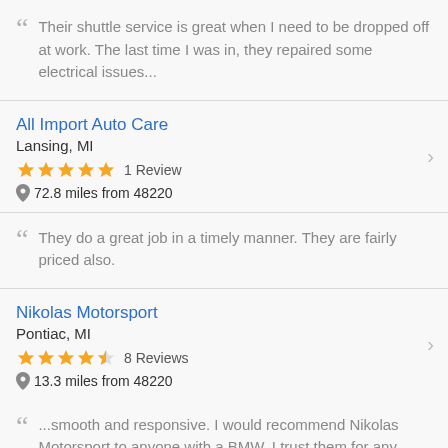Their shuttle service is great when I need to be dropped off at work. The last time I was in, they repaired some electrical issues...
All Import Auto Care
Lansing, MI
★★★★★ 1 Review
📍 72.8 miles from 48220
They do a great job in a timely manner. They are fairly priced also.
Nikolas Motorsport
Pontiac, MI
★★★★½ 8 Reviews
📍 13.3 miles from 48220
...smooth and responsive. I would recommend Nikolas Motorsport to anyone with a BMW. I trust them for any future work my car might